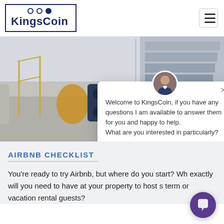[Figure (logo): KingsCoin logo with three circles above text in a bordered box]
[Figure (photo): Interior photo of a sofa with decorative pillows and a staircase in the background]
[Figure (screenshot): Chat popup with avatar, close button, and welcome message: Welcome to KingsCoin, if you have any questions I am available to answer them for you and happy to help. What are you interested in particularly?]
AIRBNB CHECKLIST
You're ready to try Airbnb, but where do you start? Wh exactly will you need to have at your property to host s term or vacation rental guests?